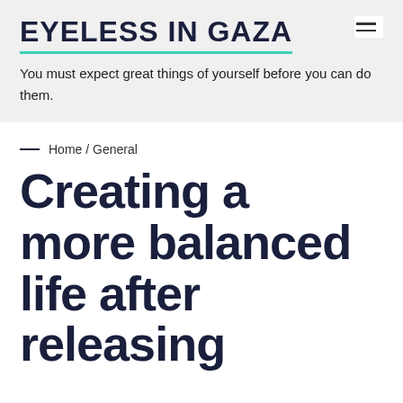EYELESS IN GAZA
You must expect great things of yourself before you can do them.
Home / General
Creating a more balanced life after releasing